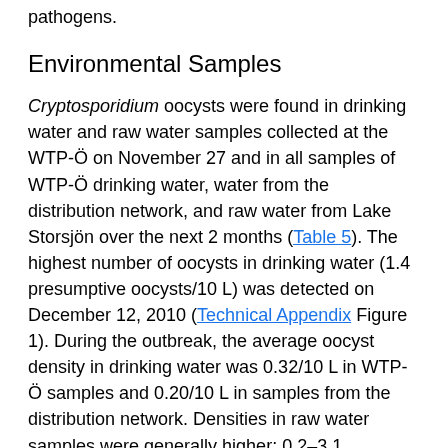pathogens.
Environmental Samples
Cryptosporidium oocysts were found in drinking water and raw water samples collected at the WTP-Ö on November 27 and in all samples of WTP-Ö drinking water, water from the distribution network, and raw water from Lake Storsjön over the next 2 months (Table 5). The highest number of oocysts in drinking water (1.4 presumptive oocysts/10 L) was detected on December 12, 2010 (Technical Appendix Figure 1). During the outbreak, the average oocyst density in drinking water was 0.32/10 L in WTP-Ö samples and 0.20/10 L in samples from the distribution network. Densities in raw water samples were generally higher: 0.2–3.1 oocysts/10 L. In WWTP-Ö wastewater, the pre-outbreak low density (≤200 oocysts/10 L), had